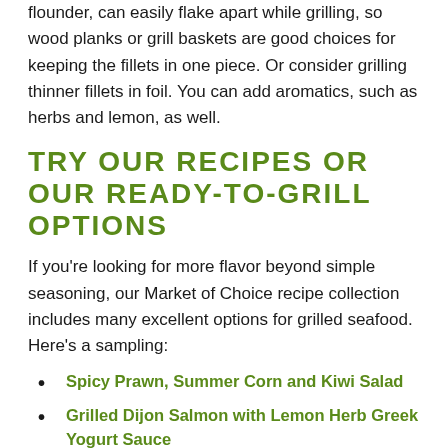flounder, can easily flake apart while grilling, so wood planks or grill baskets are good choices for keeping the fillets in one piece. Or consider grilling thinner fillets in foil. You can add aromatics, such as herbs and lemon, as well.
TRY OUR RECIPES OR OUR READY-TO-GRILL OPTIONS
If you're looking for more flavor beyond simple seasoning, our Market of Choice recipe collection includes many excellent options for grilled seafood. Here's a sampling:
Spicy Prawn, Summer Corn and Kiwi Salad
Grilled Dijon Salmon with Lemon Herb Greek Yogurt Sauce
Grilled Salmon Toasts with Avocado and Heirloom Tomatoes